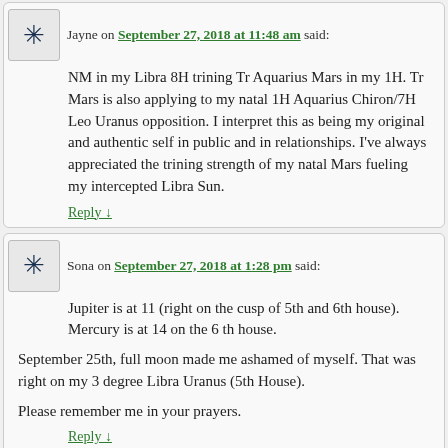Jayne on September 27, 2018 at 11:48 am said:
NM in my Libra 8H trining Tr Aquarius Mars in my 1H. Tr Mars is also applying to my natal 1H Aquarius Chiron/7H Leo Uranus opposition. I interpret this as being my original and authentic self in public and in relationships. I've always appreciated the trining strength of my natal Mars fueling my intercepted Libra Sun.
Reply ↓
Sona on September 27, 2018 at 1:28 pm said:
Jupiter is at 11 (right on the cusp of 5th and 6th house). Mercury is at 14 on the 6 th house.
September 25th, full moon made me ashamed of myself. That was right on my 3 degree Libra Uranus (5th House).
Please remember me in your prayers.
Reply ↓
Elsa on September 27, 2018 at 1:37 pm said:
(((Sona)))
Reply ↓